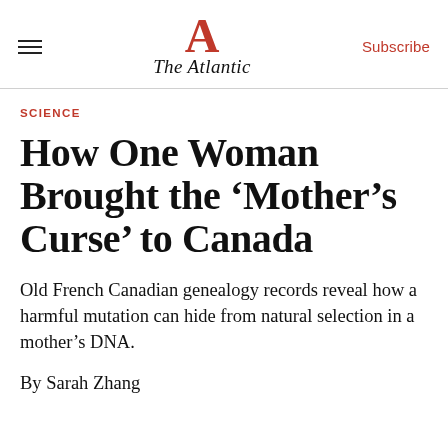The Atlantic
SCIENCE
How One Woman Brought the ‘Mother’s Curse’ to Canada
Old French Canadian genealogy records reveal how a harmful mutation can hide from natural selection in a mother’s DNA.
By Sarah Zhang